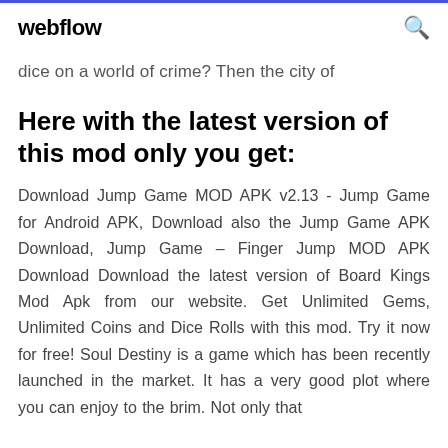webflow
dice on a world of crime? Then the city of
Here with the latest version of this mod only you get:
Download Jump Game MOD APK v2.13 - Jump Game for Android APK, Download also the Jump Game APK Download, Jump Game – Finger Jump MOD APK Download Download the latest version of Board Kings Mod Apk from our website. Get Unlimited Gems, Unlimited Coins and Dice Rolls with this mod. Try it now for free! Soul Destiny is a game which has been recently launched in the market. It has a very good plot where you can enjoy to the brim. Not only that